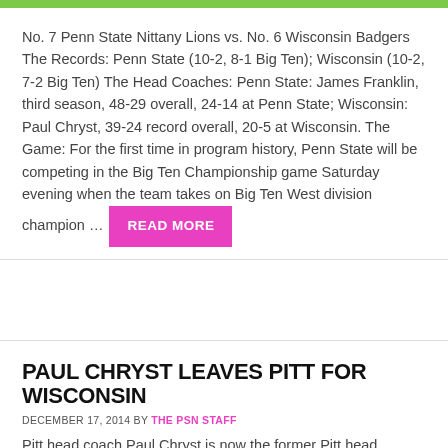[Figure (other): Green decorative bar at top of page]
No. 7 Penn State Nittany Lions vs. No. 6 Wisconsin Badgers The Records: Penn State (10-2, 8-1 Big Ten); Wisconsin (10-2, 7-2 Big Ten) The Head Coaches: Penn State: James Franklin, third season, 48-29 overall, 24-14 at Penn State; Wisconsin: Paul Chryst, 39-24 record overall, 20-5 at Wisconsin. The Game: For the first time in program history, Penn State will be competing in the Big Ten Championship game Saturday evening when the team takes on Big Ten West division champion … READ MORE
PAUL CHRYST LEAVES PITT FOR WISCONSIN
DECEMBER 17, 2014 BY THE PSN STAFF
Pitt head coach Paul Chryst is now the former Pitt head